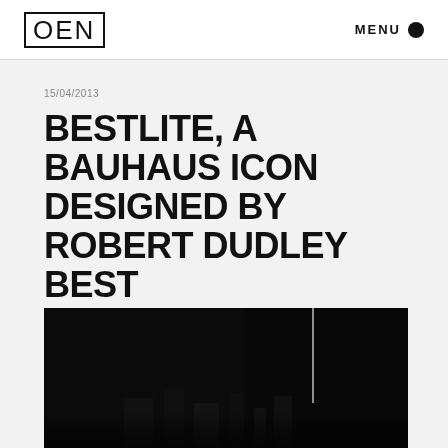OEN | MENU
15/04/2013
BESTLITE, A BAUHAUS ICON DESIGNED BY ROBERT DUDLEY BEST
[Figure (photo): Dark photograph showing what appears to be a lamp or lighting fixture against a very dark/black background]